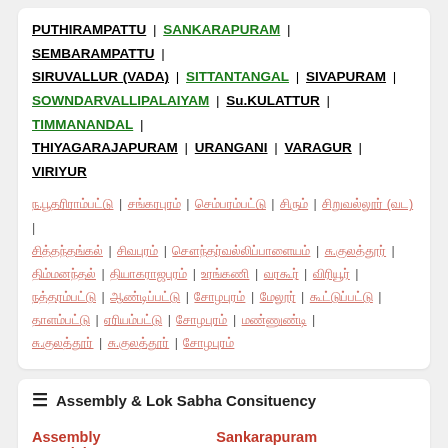PUTHIRAMPATTU | SANKARAPURAM | SEMBARAMPATTU | SIRUVALLUR (VADA) | SITTANTANGAL | SIVAPURAM | SOWNDARVALLIPALAIYAM | Su.KULATTUR | TIMMANANDAL | THIYAGARAJAPURAM | URANGANI | VARAGUR | VIRIYUR
[Tamil script village names list]
Assembly & Lok Sabha Consituency
| Field | Value |
| --- | --- |
| Assembly consticiency | Sankarapuram |
| Assembly MLA | Mr. T. Udhaya Suriyan |
| Contact Number Lok Sabha constit... | Kallakurichi |